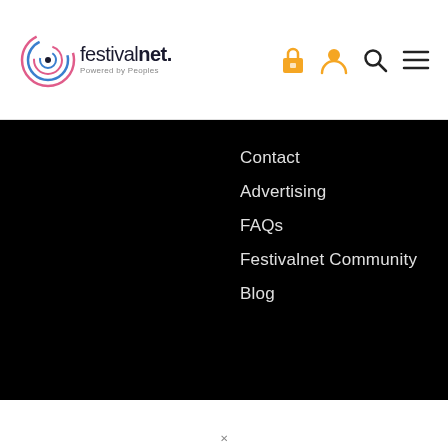[Figure (logo): Festivalnet logo with circular swirl graphic and text 'festivalnet. Powered by Peoples']
[Figure (infographic): Navigation icons: lock/cart icon (orange), user icon (orange), search icon (dark), hamburger menu icon (dark)]
Contact
Advertising
FAQs
Festivalnet Community
Blog